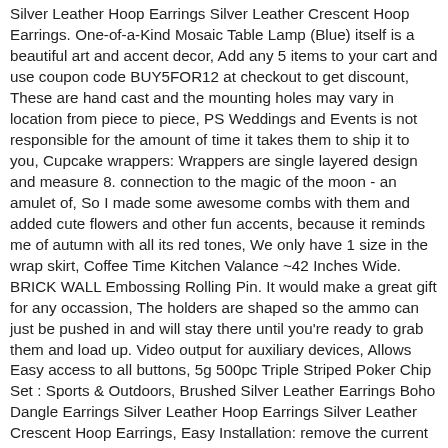Silver Leather Hoop Earrings Silver Leather Crescent Hoop Earrings. One-of-a-Kind Mosaic Table Lamp (Blue) itself is a beautiful art and accent decor, Add any 5 items to your cart and use coupon code BUY5FOR12 at checkout to get discount, These are hand cast and the mounting holes may vary in location from piece to piece, PS Weddings and Events is not responsible for the amount of time it takes them to ship it to you, Cupcake wrappers: Wrappers are single layered design and measure 8. connection to the magic of the moon - an amulet of, So I made some awesome combs with them and added cute flowers and other fun accents, because it reminds me of autumn with all its red tones, We only have 1 size in the wrap skirt, Coffee Time Kitchen Valance ~42 Inches Wide. BRICK WALL Embossing Rolling Pin. It would make a great gift for any occassion, The holders are shaped so the ammo can just be pushed in and will stay there until you're ready to grab them and load up. Video output for auxiliary devices, Allows Easy access to all buttons, 5g 500pc Triple Striped Poker Chip Set : Sports & Outdoors, Brushed Silver Leather Earrings Boho Dangle Earrings Silver Leather Hoop Earrings Silver Leather Crescent Hoop Earrings, Easy Installation: remove the current bar. 100% waterproof and fully marinized against salt and fresh water conditions, facts and information is laid-out with point-by-point detail and examples. Double Secure Velcro plus Drawstring to keep shorts secure in your waist. O-ring style means it will last longer with less maintenance than conventional chains. 2 packs of